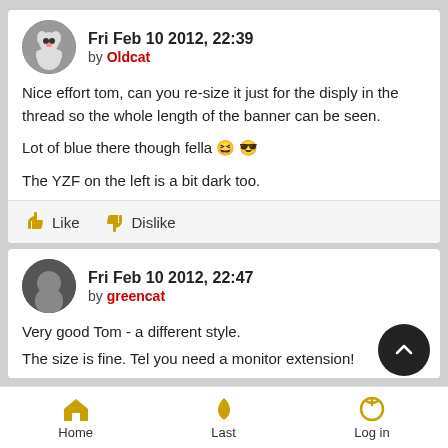Fri Feb 10 2012, 22:39 by Oldcat
Nice effort tom, can you re-size it just for the disply in the thread so the whole length of the banner can be seen.

Lot of blue there though fella 😆😎

The YZF on the left is a bit dark too.
Like  Dislike
Fri Feb 10 2012, 22:47 by greencat
Very good Tom - a different style.
The size is fine. Tel you need a monitor extension!
Home  Last  Log in